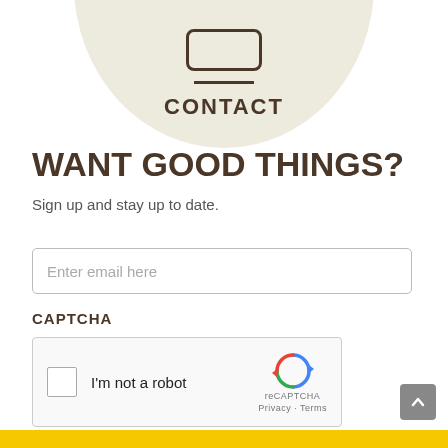[Figure (illustration): A circular beige/cream background with a contact icon (rounded rectangle with horizontal line beneath it) and the word CONTACT in bold brown letters]
WANT GOOD THINGS?
Sign up and stay up to date.
[Figure (screenshot): Email input field with placeholder text 'Enter email here']
CAPTCHA
[Figure (screenshot): reCAPTCHA widget with checkbox and 'I'm not a robot' text, reCAPTCHA logo, Privacy and Terms links]